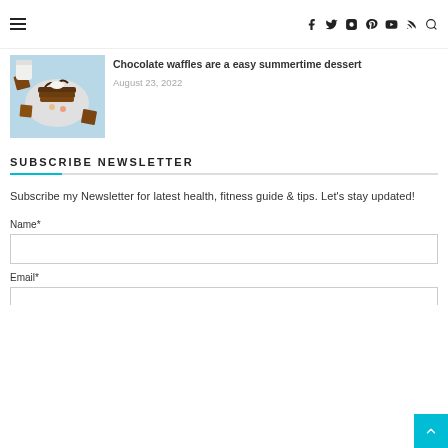≡  f  Twitter  Instagram  Pinterest  YouTube  RSS  Search
[Figure (photo): Chocolate waffles on a plate with toppings, light blue background, waffle pieces around the plate]
Chocolate waffles are a easy summertime dessert
August 23, 2022
SUBSCRIBE NEWSLETTER
Subscribe my Newsletter for latest health, fitness guide & tips. Let's stay updated!
Name*
Email*